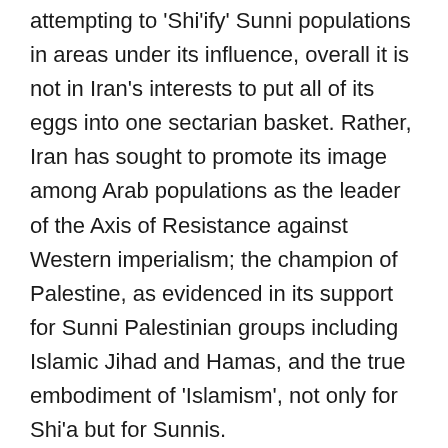attempting to 'Shi'ify' Sunni populations in areas under its influence, overall it is not in Iran's interests to put all of its eggs into one sectarian basket. Rather, Iran has sought to promote its image among Arab populations as the leader of the Axis of Resistance against Western imperialism; the champion of Palestine, as evidenced in its support for Sunni Palestinian groups including Islamic Jihad and Hamas, and the true embodiment of 'Islamism', not only for Shi'a but for Sunnis.
In this vein, the entire geo-sectarian debate might be passed off as a rhetorical tool